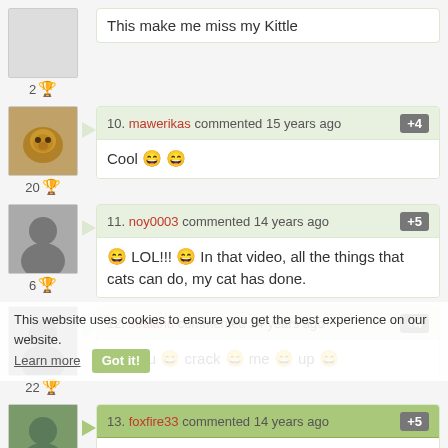2 [trophy] This make me miss my Kittle
10. mawerikas commented 15 years ago +4
Cool 😄 😄
11. noy0003 commented 14 years ago +5
😄 LOL!!! 😄 In that video, all the things that cats can do, my cat has done.
This website uses cookies to ensure you get the best experience on our website. Learn more  Got it!
12. sealand commented 14 years ago +4
😄 You 😄 crack 😄 me 😄 up 😄
13. foxfire33 commented 14 years ago +5
😄 This is exactly how my cat acts when she wants me to wake up in the morning 😄